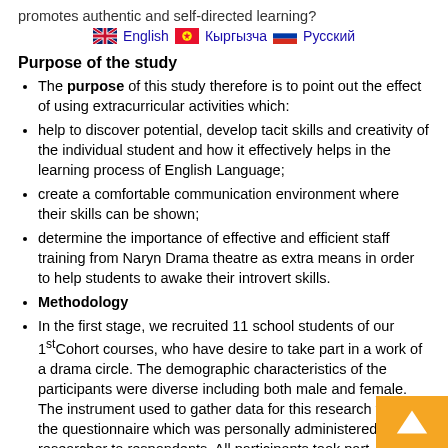promotes authentic and self-directed learning?
English  Кыргызча  Русский
Purpose of the study
The purpose of this study therefore is to point out the effect of using extracurricular activities which:
help to discover potential, develop tacit skills and creativity of the individual student and how it effectively helps in the learning process of English Language;
create a comfortable communication environment where their skills can be shown;
determine the importance of effective and efficient staff training from Naryn Drama theatre as extra means in order to help students to awake their introvert skills.
Methodology
In the first stage, we recruited 11 school students of our 1st Cohort courses, who have desire to take part in a work of a drama circle. The demographic characteristics of the participants were diverse including both male and female. The instrument used to gather data for this research work is the questionnaire which was personally administered by the researcher to respondents. All participants took part